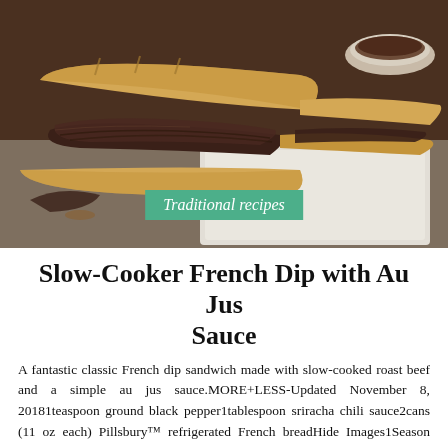[Figure (photo): A French dip sandwich with slow-cooked roast beef on a baguette, served on a white cutting board with a small bowl of au jus sauce in the background.]
Traditional recipes
Slow-Cooker French Dip with Au Jus Sauce
A fantastic classic French dip sandwich made with slow-cooked roast beef and a simple au jus sauce.MORE+LESS-Updated November 8, 20181teaspoon ground black pepper1tablespoon sriracha chili sauce2cans (11 oz each) Pillsbury™ refrigerated French breadHide Images1Season roast with salt and pepper and add to a slow cooker.